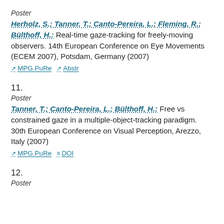Poster
Herholz, S.; Tanner, T.; Canto-Pereira, L.; Fleming, R.; Bülthoff, H.: Real-time gaze-tracking for freely-moving observers. 14th European Conference on Eye Movements (ECEM 2007), Potsdam, Germany (2007)
MPG.PuRe   Abstr
11.
Poster
Tanner, T.; Canto-Pereira, L.; Bülthoff, H.: Free vs constrained gaze in a multiple-object-tracking paradigm. 30th European Conference on Visual Perception, Arezzo, Italy (2007)
MPG.PuRe   DOI
12.
Poster